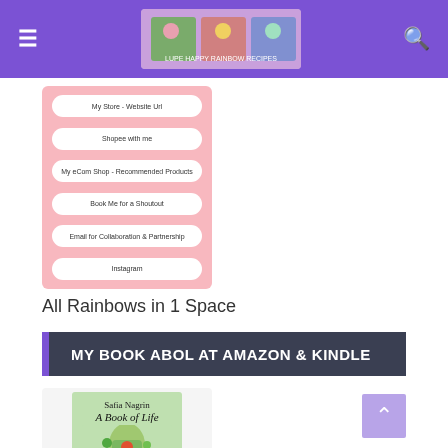≡  [logo]  🔍
[Figure (screenshot): Mobile app screenshot showing a pink background with multiple white pill-shaped buttons: 'My Store - Website Url', 'Shopee with me', 'My eCom Shop - Recommended Products', 'Book Me for a Shoutout', 'Email for Collaboration & Partnership', 'Instagram']
All Rainbows in 1 Space
MY BOOK ABOL AT AMAZON & KINDLE
[Figure (photo): A hand holding a book titled 'A Book of Life' by Safia Nagrin, with a green illustrated cover showing a bird and garden scene. Bottom text reads 'Motivate and inspire to feel great']